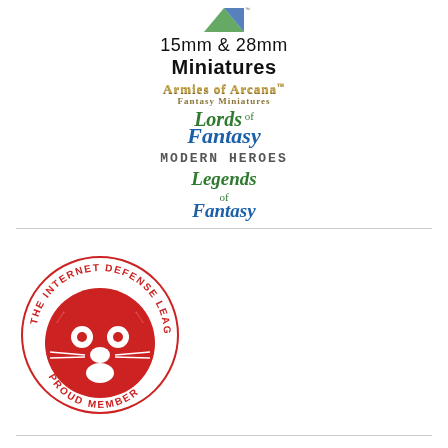[Figure (logo): 15mm & 28mm Miniatures brand logo block with dice icon, Armies of Arcana Fantasy Miniatures, Lords of Fantasy, Modern Heroes, and Legends of Fantasy sub-brand logos]
[Figure (logo): The Internet Defense League - Proud Member circular badge with red cat face illustration]